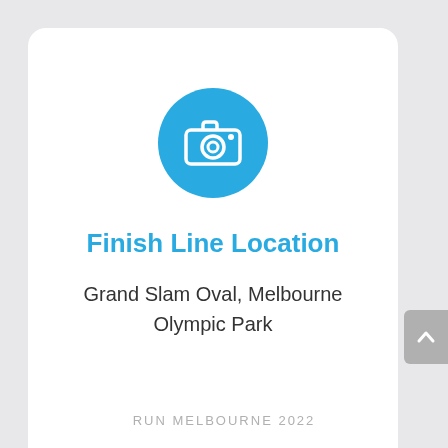[Figure (illustration): Blue circle icon with a white camera/photo icon inside]
Finish Line Location
Grand Slam Oval, Melbourne Olympic Park
RUN MELBOURNE 2022